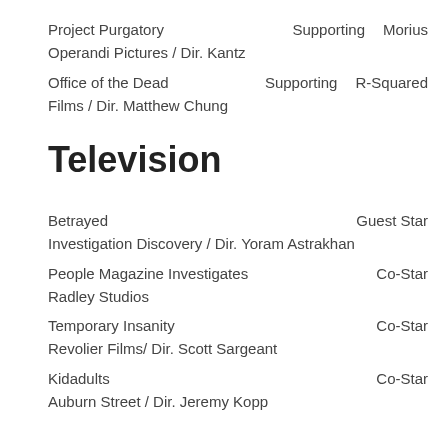Project Purgatory    Supporting    Morius
Operandi Pictures / Dir. Kantz
Office of the Dead    Supporting    R-Squared
Films / Dir. Matthew Chung
Television
Betrayed    Guest Star
Investigation Discovery / Dir. Yoram Astrakhan
People Magazine Investigates    Co-Star
Radley Studios
Temporary Insanity    Co-Star
Revolier Films/ Dir. Scott Sargeant
Kidadults    Co-Star
Auburn Street / Dir. Jeremy Kopp